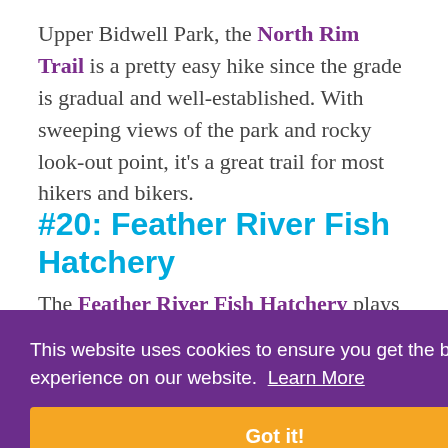Upper Bidwell Park, the North Rim Trail is a pretty easy hike since the grade is gradual and well-established. With sweeping views of the park and rocky look-out point, it's a great trail for most hikers and bikers.
#20: Feather River Fish Hatchery
The Feather River Fish Hatchery plays an [...]
This website uses cookies to ensure you get the best experience on our website. Learn More
Got it!
[Figure (photo): Partial photo strip visible at the bottom of the page]